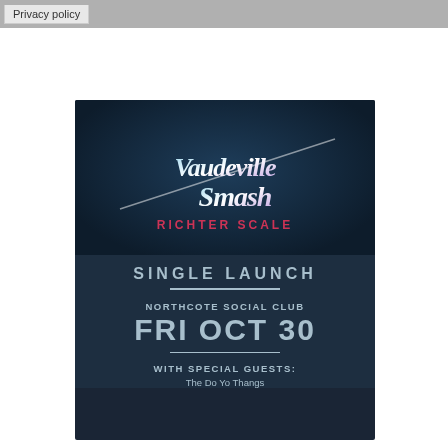Privacy policy
[Figure (illustration): Concert/event poster for Vaudeville Smash 'Richter Scale' Single Launch at Northcote Social Club, Fri Oct 30, with special guests The Do Yo Thangs. Dark blue background with stylized script band name, pink 'Richter Scale' subtitle, and event details in silver-blue text.]